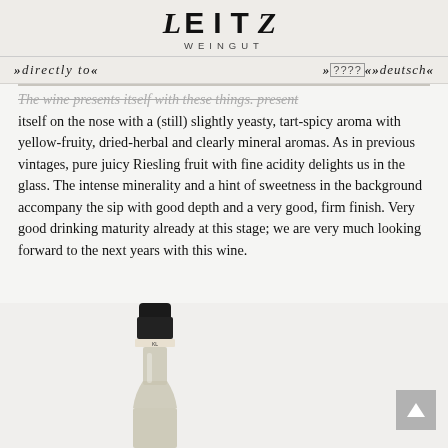LEITZ WEINGUT
»directly to«    »????«»deutsch«
itself on the nose with a (still) slightly yeasty, tart-spicy aroma with yellow-fruity, dried-herbal and clearly mineral aromas. As in previous vintages, pure juicy Riesling fruit with fine acidity delights us in the glass. The intense minerality and a hint of sweetness in the background accompany the sip with good depth and a very good, firm finish. Very good drinking maturity already at this stage; we are very much looking forward to the next years with this wine.
[Figure (photo): Bottle of Leitz wine, showing the neck and top portion of the bottle against a light background.]